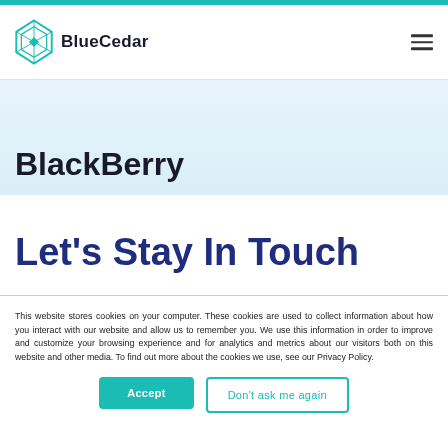BlueCedar
BlackBerry
Let's Stay In Touch
This website stores cookies on your computer. These cookies are used to collect information about how you interact with our website and allow us to remember you. We use this information in order to improve and customize your browsing experience and for analytics and metrics about our visitors both on this website and other media. To find out more about the cookies we use, see our Privacy Policy.
Accept
Don't ask me again